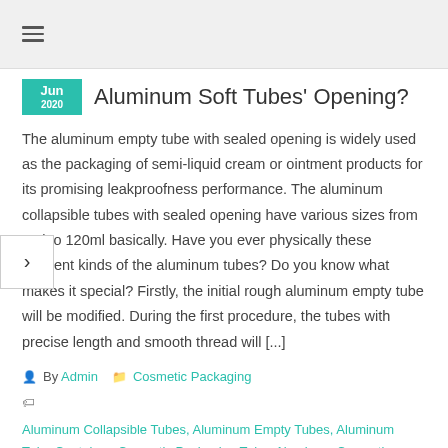≡
Aluminum Soft Tubes' Opening?
The aluminum empty tube with sealed opening is widely used as the packaging of semi-liquid cream or ointment products for its promising leakproofness performance. The aluminum collapsible tubes with sealed opening have various sizes from 3ml to 120ml basically. Have you ever physically these different kinds of the aluminum tubes? Do you know what makes it special? Firstly, the initial rough aluminum empty tube will be modified. During the first procedure, the tubes with precise length and smooth thread will [...]
By Admin   Cosmetic Packaging
Aluminum Collapsible Tubes, Aluminum Empty Tubes, Aluminum Tube Container, Cosmetic Packaging Tube, Aluminum Cosmetic Packaging, Alumium Soft Tubes, Aluminium Cosmtic Packing
Read more...